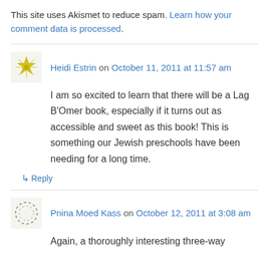This site uses Akismet to reduce spam. Learn how your comment data is processed.
Heidi Estrin on October 11, 2011 at 11:57 am
I am so excited to learn that there will be a Lag B'Omer book, especially if it turns out as accessible and sweet as this book! This is something our Jewish preschools have been needing for a long time.
↳ Reply
Pnina Moed Kass on October 12, 2011 at 3:08 am
Again, a thoroughly interesting three-way